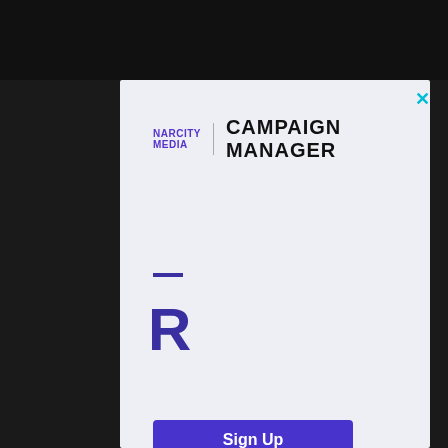[Figure (logo): NARCITY MEDIA | CAMPAIGN MANAGER logo with purple text and black condensed sans-serif]
—
R
Sign Up